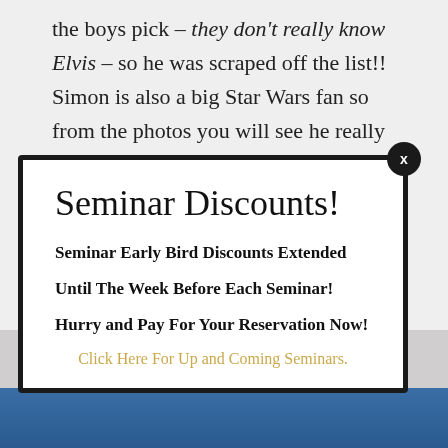the boys pick – they don't really know Elvis – so he was scraped off the list!! Simon is also a big Star Wars fan so from the photos you will see he really hammed it up.
Seminar Discounts!
Seminar Early Bird Discounts Extended
Until The Week Before Each Seminar!
Hurry and Pay For Your Reservation Now!
Click Here For Up and Coming Seminars.